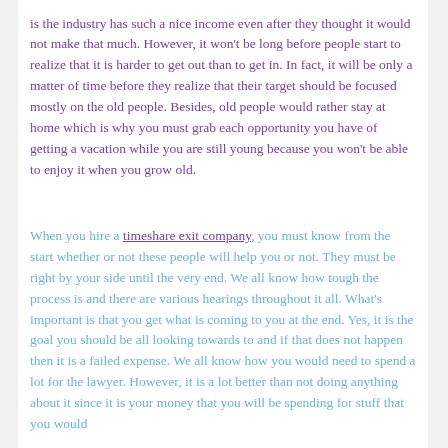is the industry has such a nice income even after they thought it would not make that much. However, it won't be long before people start to realize that it is harder to get out than to get in. In fact, it will be only a matter of time before they realize that their target should be focused mostly on the old people. Besides, old people would rather stay at home which is why you must grab each opportunity you have of getting a vacation while you are still young because you won't be able to enjoy it when you grow old.
When you hire a timeshare exit company, you must know from the start whether or not these people will help you or not. They must be right by your side until the very end. We all know how tough the process is and there are various hearings throughout it all. What's important is that you get what is coming to you at the end. Yes, it is the goal you should be all looking towards to and if that does not happen then it is a failed expense. We all know how you would need to spend a lot for the lawyer. However, it is a lot better than not doing anything about it since it is your money that you will be spending for stuff that you would